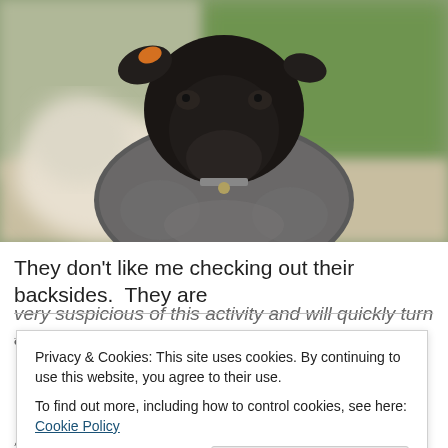[Figure (photo): Close-up photo of a black-faced sheep looking directly at camera, with a lighter-colored sheep visible behind it, blurred green background]
They don't like me checking out their backsides.  They are
very suspicious of this activity and will quickly turn and
Privacy & Cookies: This site uses cookies. By continuing to use this website, you agree to their use.
To find out more, including how to control cookies, see here: Cookie Policy
Close and accept